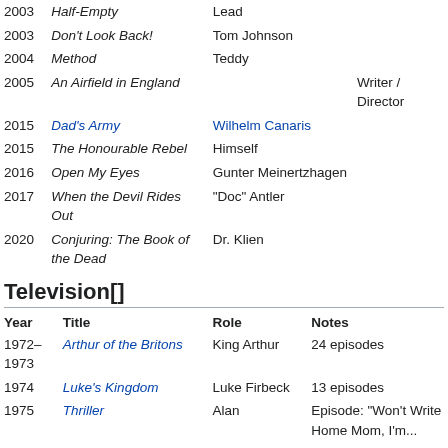| Year | Title | Role | Notes |
| --- | --- | --- | --- |
| 2003 | Half-Empty | Lead |  |
| 2003 | Don't Look Back! | Tom Johnson |  |
| 2004 | Method | Teddy |  |
| 2005 | An Airfield in England |  | Writer / Director |
| 2015 | Dad's Army | Wilhelm Canaris |  |
| 2015 | The Honourable Rebel | Himself |  |
| 2016 | Open My Eyes | Gunter Meinertzhagen |  |
| 2017 | When the Devil Rides Out | "Doc" Antler |  |
| 2020 | Conjuring: The Book of the Dead | Dr. Klien |  |
Television[]
| Year | Title | Role | Notes |
| --- | --- | --- | --- |
| 1972–1973 | Arthur of the Britons | King Arthur | 24 episodes |
| 1974 | Luke's Kingdom | Luke Firbeck | 13 episodes |
| 1975 | Thriller | Alan | Episode: "Won't Write Home Mom, I'm..." |